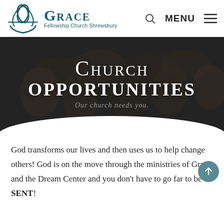[Figure (logo): Grace Fellowship Church Shrewsbury logo with teal leaf/circle emblem and church name]
[Figure (screenshot): Website header showing search icon and MENU hamburger icon]
[Figure (photo): Hero banner with hands joined together in a circle, dark overlay, showing 'CHURCH OPPORTUNITIES' text and subtitle 'Our church needs you.']
God transforms our lives and then uses us to help change others! God is on the move through the ministries of Grace and the Dream Center and you don't have to go far to be SENT!